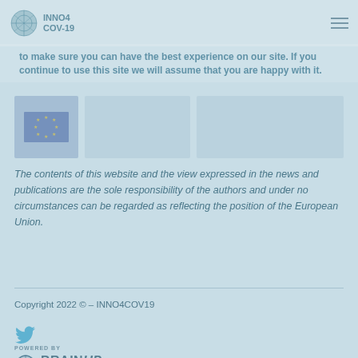INNO4COV-19 [logo and navigation hamburger menu]
to make sure you can have the best experience on our site. If you continue to use this site we will assume that you are happy with it.
[Figure (illustration): EU flag icon and two image placeholders side by side]
The contents of this website and the view expressed in the news and publications are the sole responsibility of the authors and under no circumstances can be regarded as reflecting the position of the European Union.
Copyright 2022 © – INNO4COV19
[Figure (logo): Twitter bird icon]
[Figure (logo): POWERED BY BRAINUP logo]